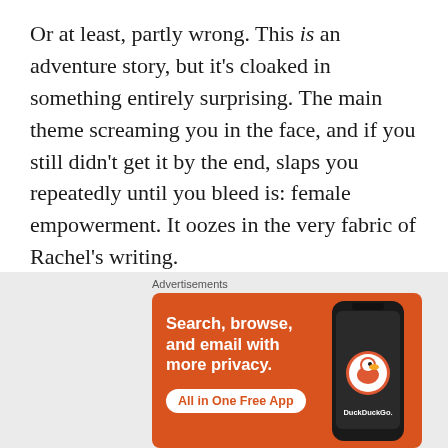Or at least, partly wrong. This is an adventure story, but it's cloaked in something entirely surprising. The main theme screaming you in the face, and if you still didn't get it by the end, slaps you repeatedly until you bleed is: female empowerment. It oozes in the very fabric of Rachel's writing.
The main character, Tess, is a seventeen year old girl brought up by a cowardly, cheating
[Figure (other): DuckDuckGo advertisement banner with orange background. Text reads: Search, browse, and email with more privacy. All in One Free App. Shows a phone mockup with DuckDuckGo logo.]